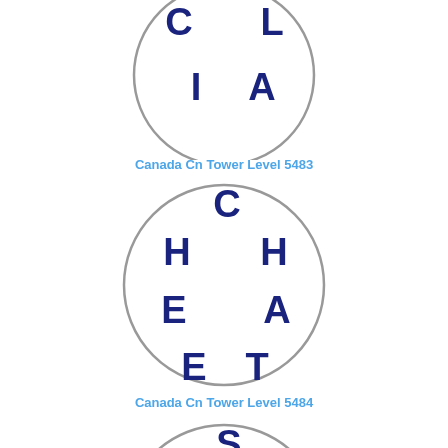[Figure (illustration): Circle puzzle with letters C, L, I, A arranged inside a circle - Canada Cn Tower Level 5483]
Canada Cn Tower Level 5483
[Figure (illustration): Circle puzzle with letters C, H, H, E, A, E, T arranged inside a circle - Canada Cn Tower Level 5484]
Canada Cn Tower Level 5484
[Figure (illustration): Circle puzzle with letters S, A, E, V, R, O arranged inside a circle - partial view]